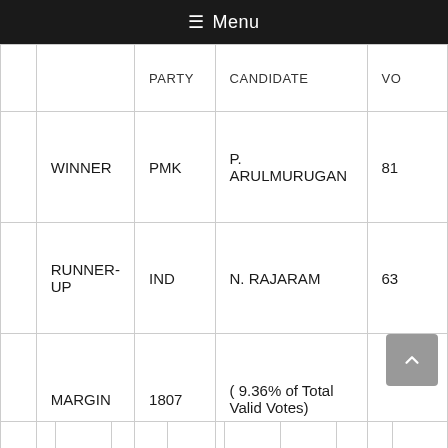Menu
|  |  | PARTY | CANDIDATE | VO |
| --- | --- | --- | --- | --- |
|  | WINNER | PMK | P. ARULMURUGAN | 81 |
|  | RUNNER-UP | IND | N. RAJARAM | 63 |
|  | MARGIN | 1807 | ( 9.36% of Total Valid Votes) |  |